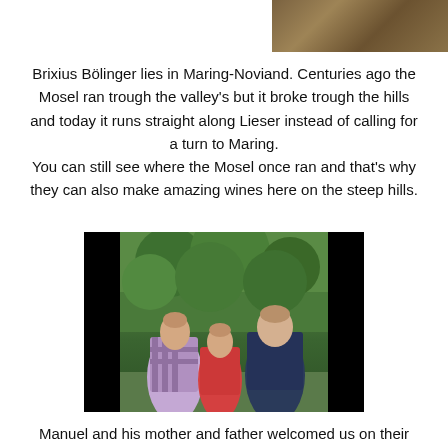[Figure (photo): Partial top photo of rocky/earthy terrain, visible in upper right portion of page]
Brixius Bölinger lies in Maring-Noviand. Centuries ago the Mosel ran trough the valley's but it broke trough the hills and today it runs straight along Lieser instead of calling for a turn to Maring.
You can still see where the Mosel once ran and that's why they can also make amazing wines here on the steep hills.
[Figure (photo): Photo of three people (Manuel, his mother, and father) standing outdoors in front of green vineyard foliage. A man in a plaid shirt on the left, a woman in red in the center, and a younger man in a dark polo shirt on the right.]
Manuel and his mother and father welcomed us on their estate and offered us a glass of Secco.
This was our first encounter with Secco and we did not